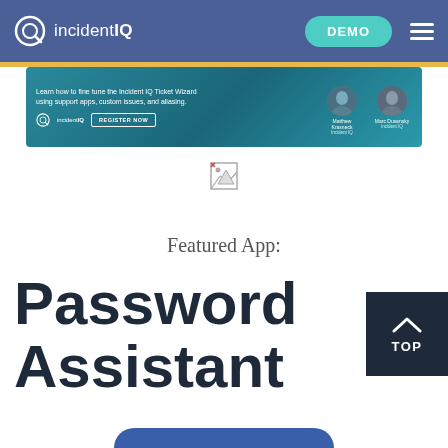incidentIQ — DEMO navigation header
[Figure (screenshot): Incident IQ webinar banner with teal gradient background showing two presenters (Matthew Krasneck, Incident IQ and Marc Dusensky, Incident IQ), with text 'Learn how to fine tune the Incident IQ Ticket Wizard using support apps, custom issues, and aliasing.' and REGISTER NOW button.]
[Figure (other): Broken/missing image placeholder icon]
Featured App:
Password Assistant
[Figure (other): Dark 'TOP' back-to-top button with chevron up arrow]